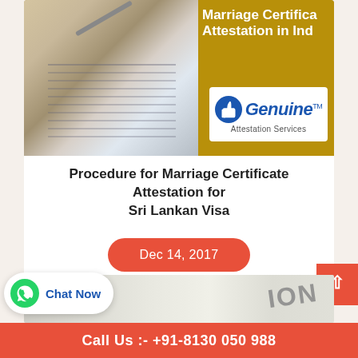[Figure (illustration): Top banner image showing a hand writing with a pen over a document on the left, and a gold/brown colored right panel with white text reading 'Marriage Certificate Attestation in India' and the Genuine Attestation Services logo (white box with blue thumbs-up icon and company name).]
Procedure for Marriage Certificate Attestation for Sri Lankan Visa
Dec 14, 2017
[Figure (photo): Bottom partial image showing a document with the word 'ION' visible in large text.]
Chat Now
Call Us :- +91-8130 050 988